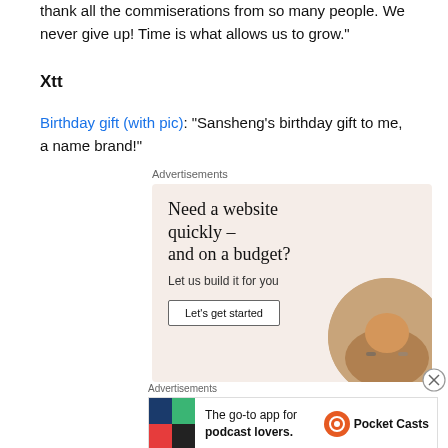thank all the commiserations from so many people. We never give up! Time is what allows us to grow."
Xtt
Birthday gift (with pic): “Sansheng’s birthday gift to me, a name brand!”
Advertisements
[Figure (other): Advertisement: Need a website quickly – and on a budget? Let us build it for you. Let's get started button. Image of hands.]
Advertisements
[Figure (other): Advertisement: The go-to app for podcast lovers. Pocket Casts logo.]